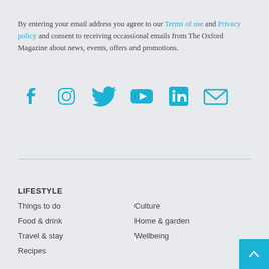By entering your email address you agree to our Terms of use and Privacy policy and consent to receiving occassional emails from The Oxford Magazine about news, events, offers and promotions.
[Figure (infographic): Row of six social media icons in blue: Facebook, Instagram, Twitter, YouTube, LinkedIn, Email/envelope]
LIFESTYLE
Things to do
Culture
Food & drink
Home & garden
Travel & stay
Wellbeing
Recipes